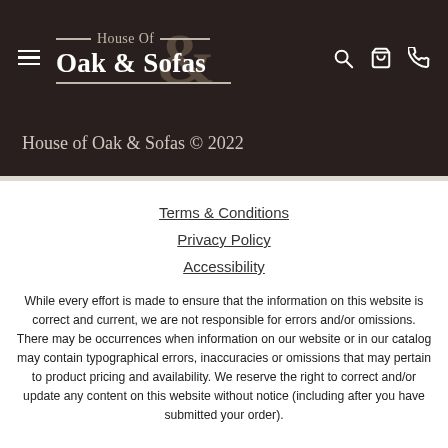House Of Oak & Sofas — navigation header with menu, search, cart, phone icons
House of Oak & Sofas © 2022
Terms & Conditions
Privacy Policy
Accessibility
While every effort is made to ensure that the information on this website is correct and current, we are not responsible for errors and/or omissions. There may be occurrences when information on our website or in our catalog may contain typographical errors, inaccuracies or omissions that may pertain to product pricing and availability. We reserve the right to correct and/or update any content on this website without notice (including after you have submitted your order).